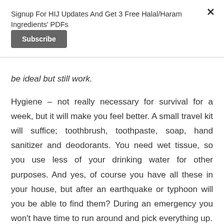Signup For HIJ Updates And Get 3 Free Halal/Haram Ingredients' PDFs
Subscribe
be ideal but still work.
Hygiene – not really necessary for survival for a week, but it will make you feel better. A small travel kit will suffice; toothbrush, toothpaste, soap, hand sanitizer and deodorants. You need wet tissue, so you use less of your drinking water for other purposes. And yes, of course you have all these in your house, but after an earthquake or typhoon will you be able to find them? During an emergency you won't have time to run around and pick everything up.